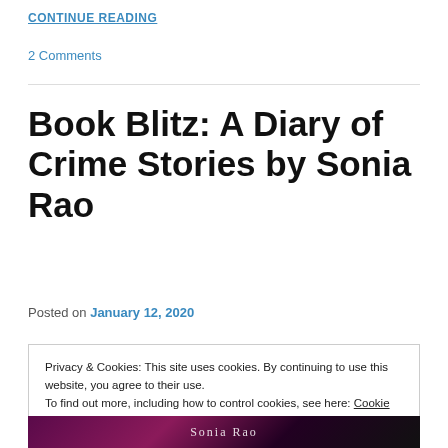CONTINUE READING
2 Comments
Book Blitz: A Diary of Crime Stories by Sonia Rao
Posted on January 12, 2020
Privacy & Cookies: This site uses cookies. By continuing to use this website, you agree to their use.
To find out more, including how to control cookies, see here: Cookie Policy
[Figure (photo): Bottom strip showing partial book cover image with pink/purple/dark background and text 'Sonia Rao']